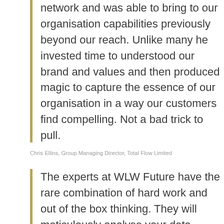network and was able to bring to our organisation capabilities previously beyond our reach. Unlike many he invested time to understood our brand and values and then produced magic to capture the essence of our organisation in a way our customers find compelling. Not a bad trick to pull.
Chris Ellins, Group Managing Director, Total Flow Limited
The experts at WLW Future have the rare combination of hard work and out of the box thinking. They will meticulously analyse your data, check their findings against reality and devise creative ways to harness the insights.